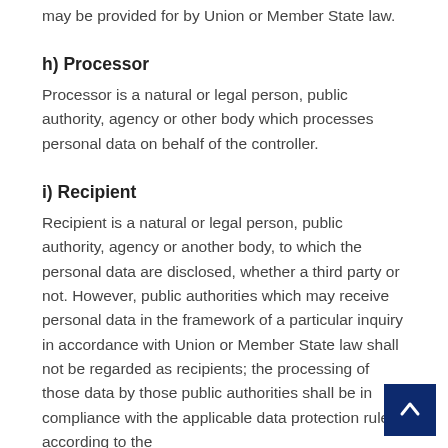may be provided for by Union or Member State law.
h) Processor
Processor is a natural or legal person, public authority, agency or other body which processes personal data on behalf of the controller.
i) Recipient
Recipient is a natural or legal person, public authority, agency or another body, to which the personal data are disclosed, whether a third party or not. However, public authorities which may receive personal data in the framework of a particular inquiry in accordance with Union or Member State law shall not be regarded as recipients; the processing of those data by those public authorities shall be in compliance with the applicable data protection rules according to the